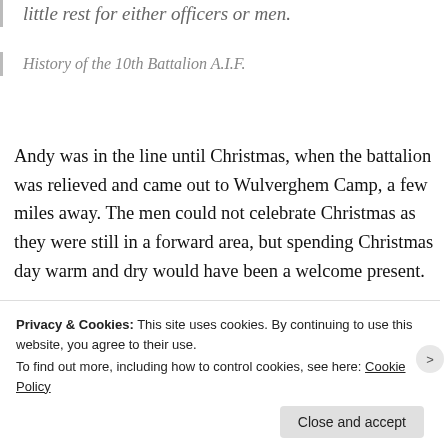little rest for either officers or men.
History of the 10th Battalion A.I.F.
Andy was in the line until Christmas, when the battalion was relieved and came out to Wulverghem Camp, a few miles away. The men could not celebrate Christmas as they were still in a forward area, but spending Christmas day warm and dry would have been a welcome present.
[Figure (photo): Partial image of photographs or books on a light background]
Privacy & Cookies: This site uses cookies. By continuing to use this website, you agree to their use.
To find out more, including how to control cookies, see here: Cookie Policy